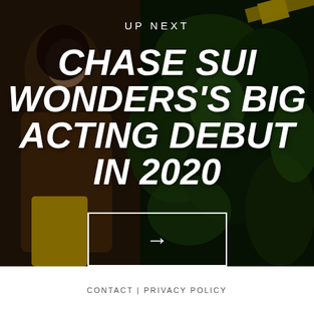[Figure (photo): Background photo of a young woman with long dark hair wearing a brown jacket and yellow pants, standing among green foliage with a yellow structural element visible in the background.]
UP NEXT
CHASE SUI WONDERS'S BIG ACTING DEBUT IN 2020
[Figure (other): A white-bordered rectangular button with a right-pointing arrow symbol inside.]
CONTACT | PRIVACY POLICY